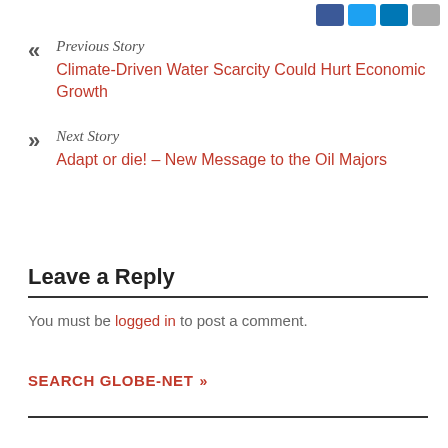[Figure (other): Social media share icons: Facebook (blue), Twitter (light blue), LinkedIn (blue), Email (grey) in top right corner]
Previous Story
Climate-Driven Water Scarcity Could Hurt Economic Growth
Next Story
Adapt or die! – New Message to the Oil Majors
Leave a Reply
You must be logged in to post a comment.
SEARCH GLOBE-NET »